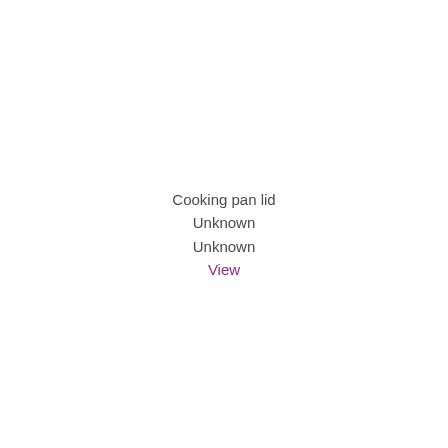Cooking pan lid
Unknown
Unknown
View